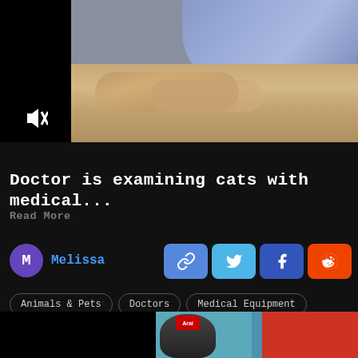[Figure (photo): Blurred photo of a cat being examined by a doctor with a blue cloth/glove visible, mute icon overlay in bottom left of video player]
Doctor is examining cats with medical...
Read More
M Melissa
[Figure (infographic): Share buttons: link, Twitter, Facebook, Reddit]
Animals & Pets
Doctors
Medical Equipment
Health Care
Hospital
[Figure (photo): Partial photo of a race car driver wearing a helmet with Red Bull branding, colorful background]